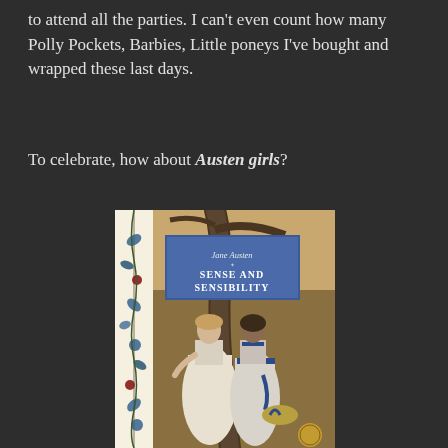to attend all the parties. I can't even count how many Polly Pockets, Barbies, Little poneys I've bought and wrapped these last days.
To celebrate, how about Austen girls?
[Figure (photo): Book cover of 'Sense and Sensibility' by Jane Austen, showing two women in Regency-era clothing leaning against a tree, with a decorative floral border on the left side. Blue title label in upper portion.]